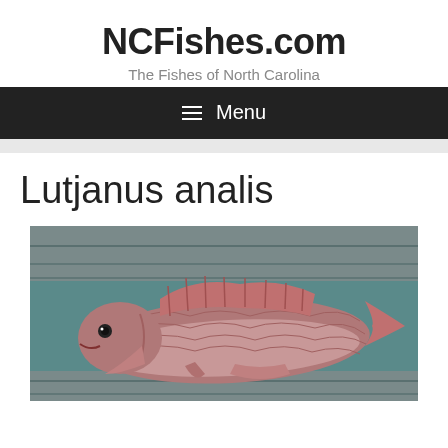NCFishes.com
The Fishes of North Carolina
≡ Menu
Lutjanus analis
[Figure (photo): Photo of a Lutjanus analis (mutton snapper) fish lying on wooden planks, showing its reddish-pink scales and fins]